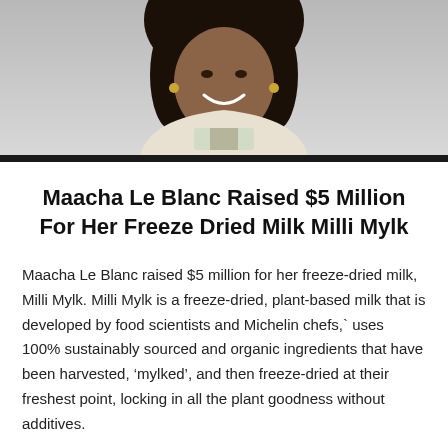[Figure (photo): Portrait photo of Maacha Le Blanc, a woman with dark hair, smiling, wearing a white top, shown from shoulders up against a light gray background]
Maacha Le Blanc Raised $5 Million For Her Freeze Dried Milk Milli Mylk
Maacha Le Blanc raised $5 million for her freeze-dried milk, Milli Mylk. Milli Mylk is a freeze-dried, plant-based milk that is developed by food scientists and Michelin chefs,` uses 100% sustainably sourced and organic ingredients that have been harvested, ‘mylked’, and then freeze-dried at their freshest point, locking in all the plant goodness without additives.
read more